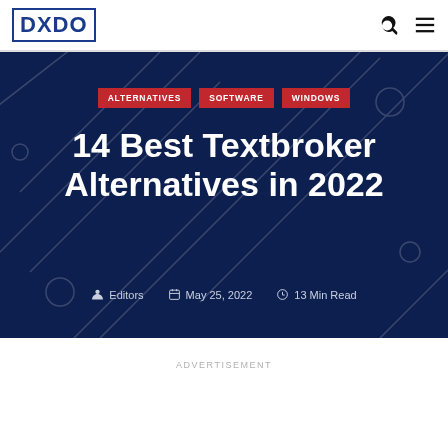DXDO
ALTERNATIVES
SOFTWARE
WINDOWS
14 Best Textbroker Alternatives in 2022
Editors   May 25, 2022   13 Min Read
ADVERTISEMENT